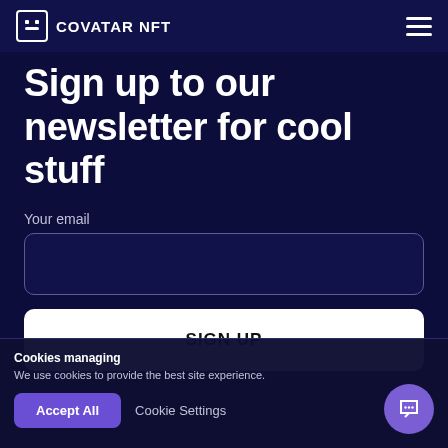COVATAR NFT
Sign up to our newsletter for cool stuff
Your email
SIGN UP
Cookies managing
We use cookies to provide the best site experience.
Accept All
Cookie Settings